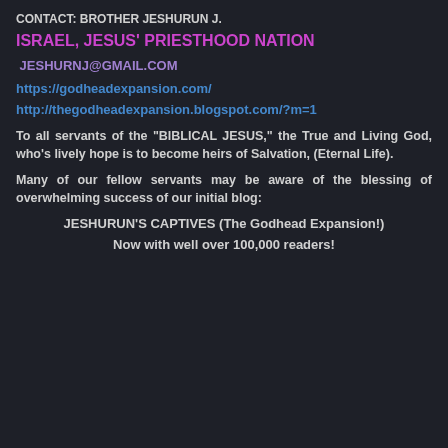CONTACT: BROTHER JESHURUN J.
ISRAEL, JESUS' PRIESTHOOD NATION
JESHURNJ@GMAIL.COM
https://godheadexpansion.com/
http://thegodheadexpansion.blogspot.com/?m=1
To all servants of the "BIBLICAL JESUS," the True and Living God, who's lively hope is to become heirs of Salvation, (Eternal Life).
Many of our fellow servants may be aware of the blessing of overwhelming success of our initial blog:
JESHURUN'S CAPTIVES (The Godhead Expansion!)
Now with well over 100,000 readers!